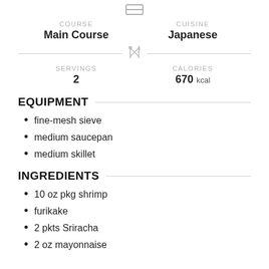[Figure (other): Small icon of a rectangle/grid (recipe card icon) at top center]
COURSE
Main Course
CUISINE
Japanese
[Figure (other): Fork and knife crossed icon (divider)]
SERVINGS
2
CALORIES
670 kcal
EQUIPMENT
fine-mesh sieve
medium saucepan
medium skillet
INGREDIENTS
10 oz pkg shrimp
furikake
2 pkts Sriracha
2 oz mayonnaise